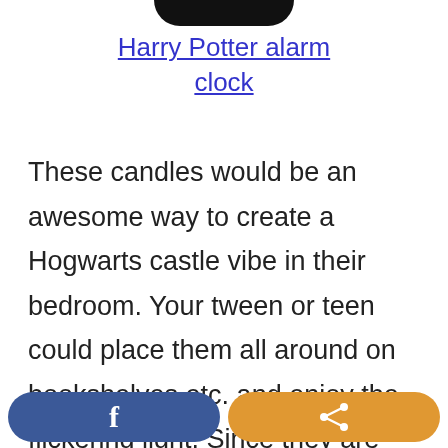[Figure (photo): Bottom portion of a Harry Potter alarm clock product image]
Harry Potter alarm clock
These candles would be an awesome way to create a Hogwarts castle vibe in their bedroom. Your tween or teen could place them all around on bookshelves etc. and enjoy the flickering light. Since they are LEDs, they are safe. This set comes with a timer capability so they can come on at a
[Figure (other): Facebook share button and generic share button at bottom of page]